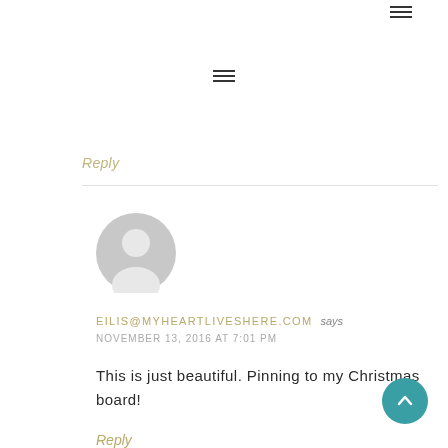[Figure (other): Hamburger menu icon in top right corner]
[Figure (other): Hamburger menu icon centered near top]
Reply
[Figure (other): Default user avatar - grey circle with person silhouette]
EILIS@MYHEARTLIVESHERE.COM says
NOVEMBER 13, 2016 AT 7:01 PM
This is just beautiful. Pinning to my Christmas board!
Reply
[Figure (other): Teal circular back-to-top button with upward chevron arrow]